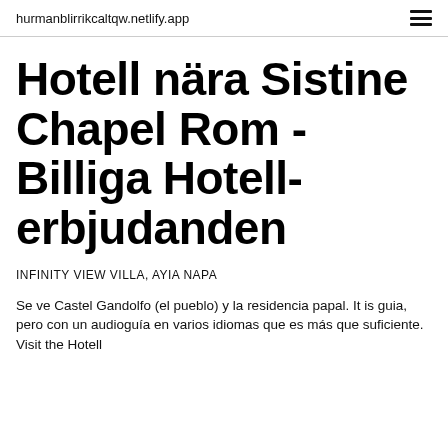hurmanblirrikcaltqw.netlify.app
Hotell nära Sistine Chapel Rom - Billiga Hotell-erbjudanden
INFINITY VIEW VILLA, AYIA NAPA
Se ve Castel Gandolfo (el pueblo) y la residencia papal. It is guia, pero con un audioguía en varios idiomas que es más que suficiente. Visit the Hotell